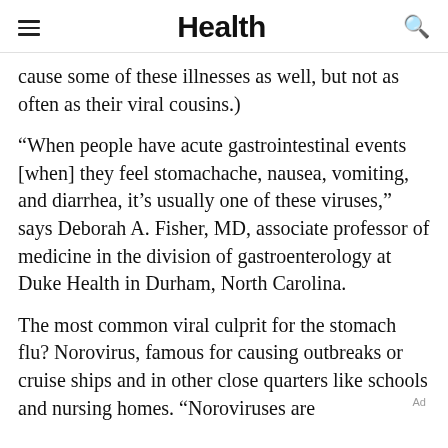Health
cause some of these illnesses as well, but not as often as their viral cousins.)
“When people have acute gastrointestinal events [when] they feel stomachache, nausea, vomiting, and diarrhea, it’s usually one of these viruses,” says Deborah A. Fisher, MD, associate professor of medicine in the division of gastroenterology at Duke Health in Durham, North Carolina.
The most common viral culprit for the stomach flu? Norovirus, famous for causing outbreaks or cruise ships and in other close quarters like schools and nursing homes. “Noroviruses are